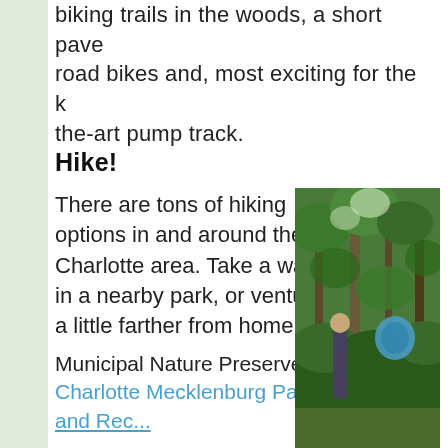biking trails in the woods, a short paved road bikes and, most exciting for the k the-art pump track.
Hike!
There are tons of hiking options in and around the Charlotte area. Take a walk in a nearby park, or venture a little farther from home.
Municipal Nature Preserves: Charlotte Mecklenburg Parks and Rec...
[Figure (photo): A person standing among trees in a wooded area, with a blue object visible among green foliage.]